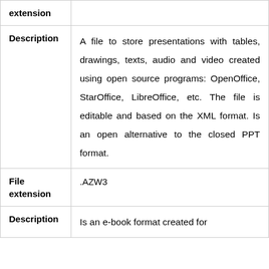| Field | Value |
| --- | --- |
| extension |  |
| Description | A file to store presentations with tables, drawings, texts, audio and video created using open source programs: OpenOffice, StarOffice, LibreOffice, etc. The file is editable and based on the XML format. Is an open alternative to the closed PPT format. |
| File extension | .AZW3 |
| Description | Is an e-book format created for |